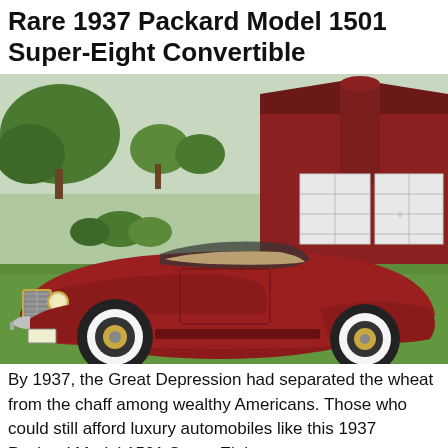Rare 1937 Packard Model 1501 Super-Eight Convertible
[Figure (photo): Photograph of a rare 1937 Packard Model 1501 Super-Eight Convertible, a classic dark red open-top automobile with whitewall tires and chrome details, parked on grass in front of a red barn and white garage doors.]
By 1937, the Great Depression had separated the wheat from the chaff among wealthy Americans. Those who could still afford luxury automobiles like this 1937 Packard Model 1501 Super-Eight